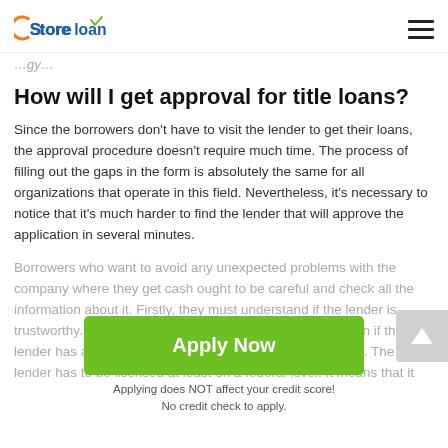Store loan
...gy...
How will I get approval for title loans?
Since the borrowers don't have to visit the lender to get their loans, the approval procedure doesn't require much time. The process of filling out the gaps in the form is absolutely the same for all organizations that operate in this field. Nevertheless, it's necessary to notice that it's much harder to find the lender that will approve the application in several minutes.
Borrowers who want to avoid any unexpected problems with the company where they get cash ought to be careful and check all the information about it. Firstly, they must understand if the lender is trustworthy. To find that out, they should draw their attention if the lender has all of the legal documents that include a license. The lender has to be licensed at least on a federal level. It means that it...
[Figure (other): Green Apply Now button with text 'Apply Now' and note below: 'Applying does NOT affect your credit score! No credit check to apply.']